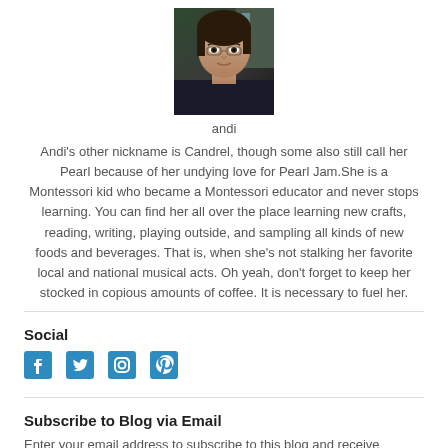[Figure (photo): Profile photo of Andi, a young woman outdoors near a waterfall/rocky background]
andi
Andi's other nickname is Candrel, though some also still call her Pearl because of her undying love for Pearl Jam.She is a Montessori kid who became a Montessori educator and never stops learning. You can find her all over the place learning new crafts, reading, writing, playing outside, and sampling all kinds of new foods and beverages. That is, when she's not stalking her favorite local and national musical acts. Oh yeah, don't forget to keep her stocked in copious amounts of coffee. It is necessary to fuel her.
Social
[Figure (other): Social media icons: Facebook, Twitter, Instagram, Pinterest — all in teal/blue color]
Subscribe to Blog via Email
Enter your email address to subscribe to this blog and receive notifications of new posts by email.